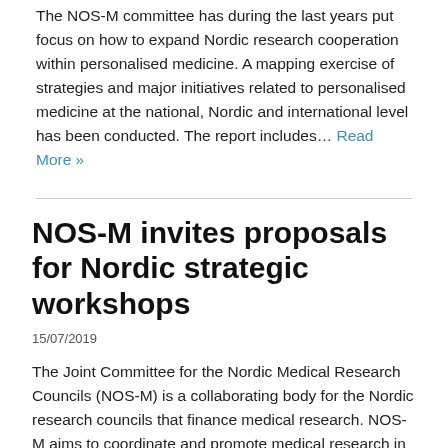The NOS-M committee has during the last years put focus on how to expand Nordic research cooperation within personalised medicine. A mapping exercise of strategies and major initiatives related to personalised medicine at the national, Nordic and international level has been conducted. The report includes… Read More »
NOS-M invites proposals for Nordic strategic workshops
15/07/2019
The Joint Committee for the Nordic Medical Research Councils (NOS-M) is a collaborating body for the Nordic research councils that finance medical research. NOS-M aims to coordinate and promote medical research in the Nordic countries, to monitor its progress, and to facilitate information